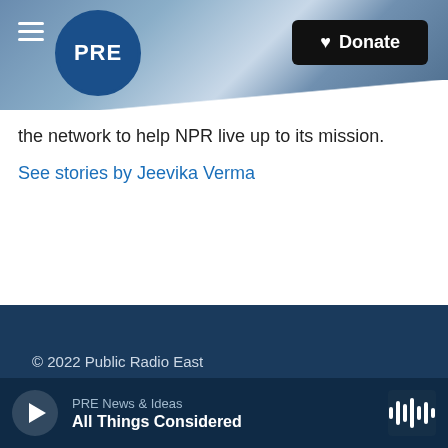[Figure (screenshot): Website header with PRE (Public Radio East) logo, hamburger menu, ocean wave background image, and Donate button]
the network to help NPR live up to its mission.
See stories by Jeevika Verma
© 2022 Public Radio East
FCC Public Files
Corporate Underwriting
PRE News & Ideas
All Things Considered